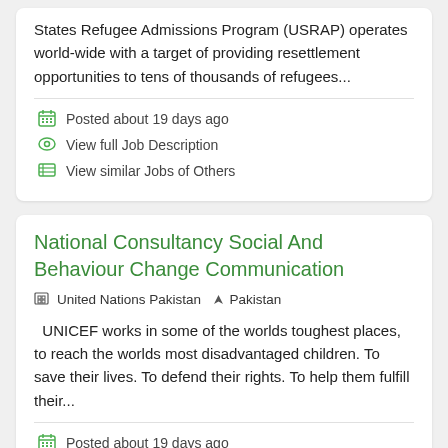States Refugee Admissions Program (USRAP) operates world-wide with a target of providing resettlement opportunities to tens of thousands of refugees...
Posted about 19 days ago
View full Job Description
View similar Jobs of Others
National Consultancy Social And Behaviour Change Communication
United Nations Pakistan  Pakistan
UNICEF works in some of the worlds toughest places, to reach the worlds most disadvantaged children. To save their lives. To defend their rights. To help them fulfill their...
Posted about 19 days ago